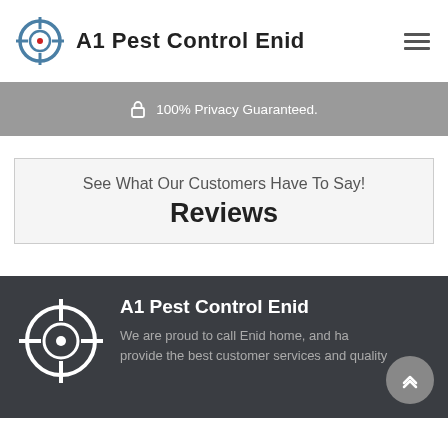A1 Pest Control Enid
100% Privacy Guaranteed.
See What Our Customers Have To Say!
Reviews
A1 Pest Control Enid
We are proud to call Enid home, and ha... provide the best customer services and quality